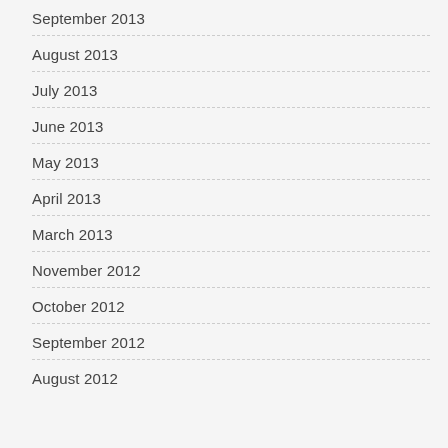September 2013
August 2013
July 2013
June 2013
May 2013
April 2013
March 2013
November 2012
October 2012
September 2012
August 2012